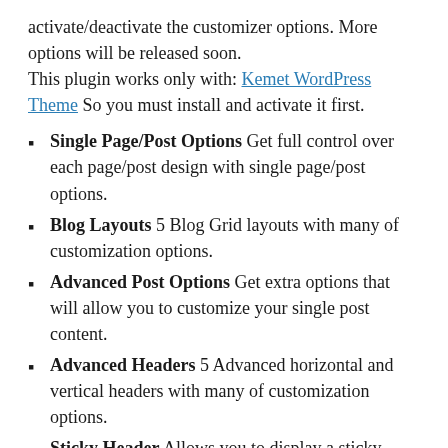activate/deactivate the customizer options. More options will be released soon.
This plugin works only with: Kemet WordPress Theme So you must install and activate it first.
Single Page/Post Options Get full control over each page/post design with single page/post options.
Blog Layouts 5 Blog Grid layouts with many of customization options.
Advanced Post Options Get extra options that will allow you to customize your single post content.
Advanced Headers 5 Advanced horizontal and vertical headers with many of customization options.
Sticky Header Allows you to display a sticky header when user scrolls the page.
Top bar Section Adds top area on top of the